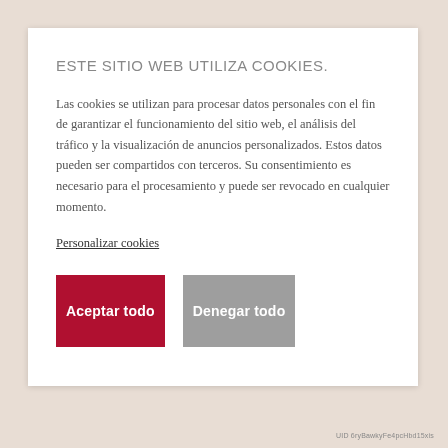ESTE SITIO WEB UTILIZA COOKIES.
Las cookies se utilizan para procesar datos personales con el fin de garantizar el funcionamiento del sitio web, el análisis del tráfico y la visualización de anuncios personalizados. Estos datos pueden ser compartidos con terceros. Su consentimiento es necesario para el procesamiento y puede ser revocado en cualquier momento.
Personalizar cookies
Aceptar todo
Denegar todo
UID 6ryBawkyFe4pcHbd15xis